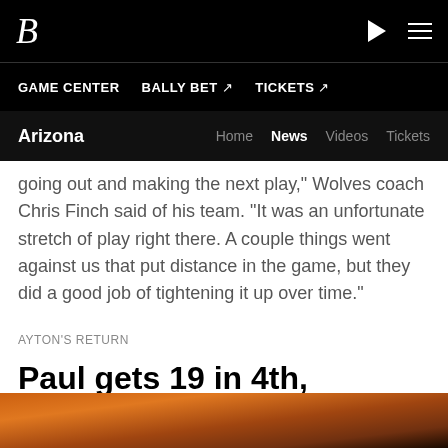B (Bally Sports logo)
GAME CENTER  BALLY BET ↗  TICKETS ↗
Arizona  Home  News  Videos  Tickets
going out and making the next play," Wolves coach Chris Finch said of his team. "It was an unfortunate stretch of play right there. A couple things went against us that put distance in the game, but they did a good job of tightening it up over time."
AYTON'S RETURN
Paul gets 19 in 4th, Suns beat Timberwolves, 9th win in row
[Figure (photo): Photo of basketball players at bottom of page]